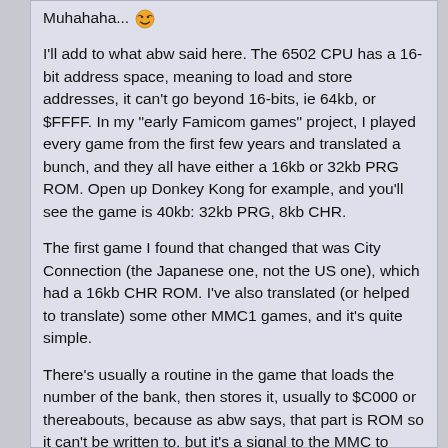Muhahaha... 😁
I'll add to what abw said here. The 6502 CPU has a 16-bit address space, meaning to load and store addresses, it can't go beyond 16-bits, ie 64kb, or $FFFF. In my "early Famicom games" project, I played every game from the first few years and translated a bunch, and they all have either a 16kb or 32kb PRG ROM. Open up Donkey Kong for example, and you'll see the game is 40kb: 32kb PRG, 8kb CHR.
The first game I found that changed that was City Connection (the Japanese one, not the US one), which had a 16kb CHR ROM. I've also translated (or helped to translate) some other MMC1 games, and it's quite simple.
There's usually a routine in the game that loads the number of the bank, then stores it, usually to $C000 or thereabouts, because as abw says, that part is ROM so it can't be written to, but it's a signal to the MMC to switch banks. This happens instantly, and changes the bank between $8000 and $BFFF. The $C000 bank is fixed to the last 16kb of the ROM. In other games I worked on, I was able to double the size of the game simply by inserting 128kb of zeroes before the last bank, then running the iNES header to fix the...